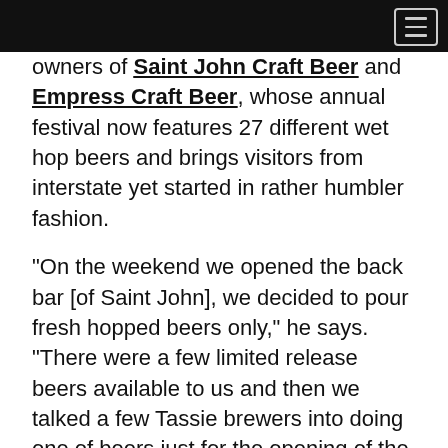owners of Saint John Craft Beer and Empress Craft Beer, whose annual festival now features 27 different wet hop beers and brings visitors from interstate yet started in rather humbler fashion.
“On the weekend we opened the back bar [of Saint John], we decided to pour fresh hopped beers only,” he says. "There were a few limited release beers available to us and then we talked a few Tassie brewers into doing one of beers just for the opening of the bar.
“People really liked the fresh hopped beers, and we felt a lot of people didn’t realise brewers use pellet hops most of the year, and a lot of people didn't even really realise where hops came from. There was a lot